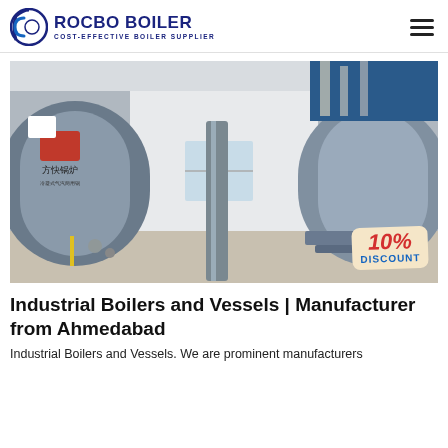ROCBO BOILER — COST-EFFECTIVE BOILER SUPPLIER
[Figure (photo): Industrial boilers inside a factory building — two large cylindrical steel boiler vessels side by side with piping and equipment, with a '10% DISCOUNT' badge overlay in the bottom-right corner.]
Industrial Boilers and Vessels | Manufacturer from Ahmedabad
Industrial Boilers and Vessels. We are prominent manufacturers